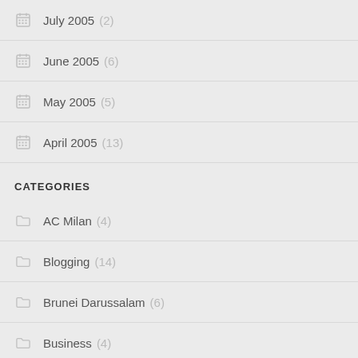July 2005 (2)
June 2005 (6)
May 2005 (5)
April 2005 (13)
CATEGORIES
AC Milan (4)
Blogging (14)
Brunei Darussalam (6)
Business (4)